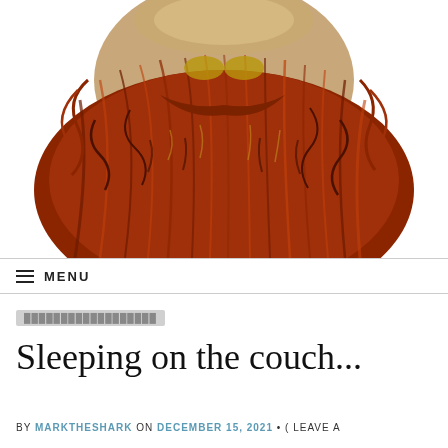[Figure (photo): Close-up photo of a decorative ceramic or resin sculpture of a bearded face (wizard/gnome style) with reddish-brown flowing beard and golden accents, on a white background]
≡ MENU
Category tag (blurred/redacted)
Sleeping on the couch...
BY MARKTHESHARK ON DECEMBER 15, 2021 • ( LEAVE A